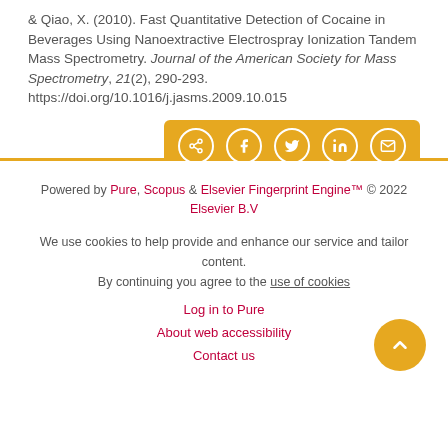& Qiao, X. (2010). Fast Quantitative Detection of Cocaine in Beverages Using Nanoextractive Electrospray Ionization Tandem Mass Spectrometry. Journal of the American Society for Mass Spectrometry, 21(2), 290-293. https://doi.org/10.1016/j.jasms.2009.10.015
[Figure (other): Social share buttons bar with icons for share, Facebook, Twitter, LinkedIn, and email on a golden/amber background]
Powered by Pure, Scopus & Elsevier Fingerprint Engine™ © 2022 Elsevier B.V

We use cookies to help provide and enhance our service and tailor content. By continuing you agree to the use of cookies

Log in to Pure
About web accessibility
Contact us